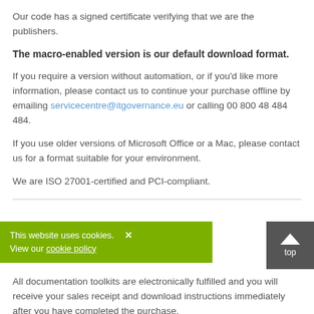Our code has a signed certificate verifying that we are the publishers.
The macro-enabled version is our default download format.
If you require a version without automation, or if you'd like more information, please contact us to continue your purchase offline by emailing servicecentre@itgovernance.eu or calling 00 800 48 484 484.
If you use older versions of Microsoft Office or a Mac, please contact us for a format suitable for your environment.
We are ISO 27001-certified and PCI-compliant.
This website uses cookies. View our cookie policy
ocuments?
All documentation toolkits are electronically fulfilled and you will receive your sales receipt and download instructions immediately after you have completed the purchase.